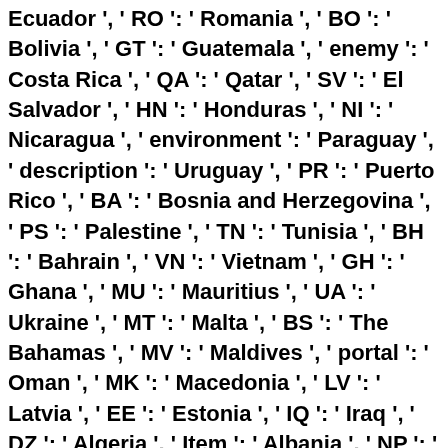Ecuador ', ' RO ': ' Romania ', ' BO ': ' Bolivia ', ' GT ': ' Guatemala ', ' enemy ': ' Costa Rica ', ' QA ': ' Qatar ', ' SV ': ' El Salvador ', ' HN ': ' Honduras ', ' NI ': ' Nicaragua ', ' environment ': ' Paraguay ', ' description ': ' Uruguay ', ' PR ': ' Puerto Rico ', ' BA ': ' Bosnia and Herzegovina ', ' PS ': ' Palestine ', ' TN ': ' Tunisia ', ' BH ': ' Bahrain ', ' VN ': ' Vietnam ', ' GH ': ' Ghana ', ' MU ': ' Mauritius ', ' UA ': ' Ukraine ', ' MT ': ' Malta ', ' BS ': ' The Bahamas ', ' MV ': ' Maldives ', ' portal ': ' Oman ', ' MK ': ' Macedonia ', ' LV ': ' Latvia ', ' EE ': ' Estonia ', ' IQ ': ' Iraq ', ' DZ ': ' Algeria ', ' Item ': ' Albania ', ' NP ': ' Nepal ', ' MO ': ': ' Macau ', ' moment ': ' Montenegro ', '